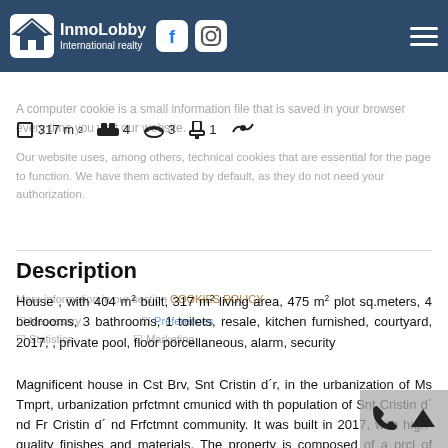InmoLobby International realty
317 m² | 4 bedrooms | 3 bathrooms | 1 toilets | swimming pool
Description
House , with 404 m² built, 317 m² living area, 475 m² plot sq.meters, 4 bedrooms, 3 bathrooms, 1 toilets, resale, kitchen furnished, courtyard, 2017, , private pool, floor porcellaneous, alarm, security
Magnificent house in Cst Brv, Snt Cristin d´r, in the urbanization of Ms Tmprt, urbanization prfctmnt cmunicd with th population of Snt Cristin d´ nd Fr Cristin d´ nd Frfctmnt community. It was built in 2017, with high-quality finishes and materials. The property is composed of a prcl of approximately 526 m2 and is built approximately m2, which are distributed as follows: Plot, and Primrose